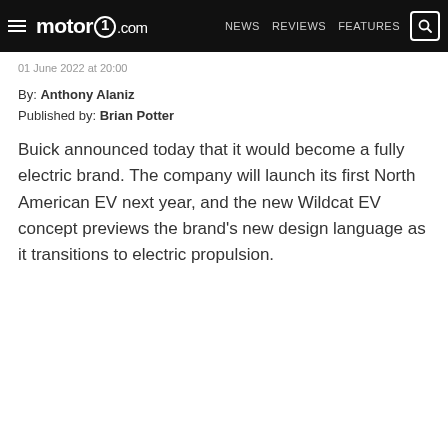motor1.com  NEWS  REVIEWS  FEATURES
01 June 2022 at 20:00
By: Anthony Alaniz
Published by: Brian Potter
Buick announced today that it would become a fully electric brand. The company will launch its first North American EV next year, and the new Wildcat EV concept previews the brand’s new design language as it transitions to electric propulsion.